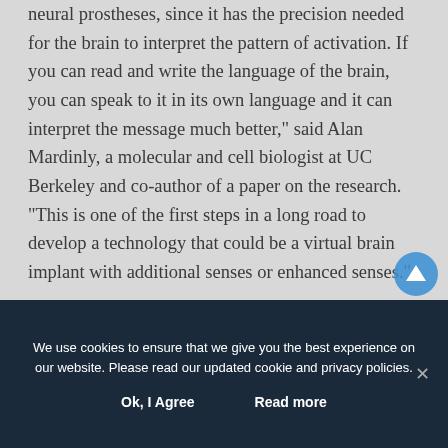neural prostheses, since it has the precision needed for the brain to interpret the pattern of activation. If you can read and write the language of the brain, you can speak to it in its own language and it can interpret the message much better," said Alan Mardinly, a molecular and cell biologist at UC Berkeley and co-author of a paper on the research. "This is one of the first steps in a long road to develop a technology that could be a virtual brain implant with additional senses or enhanced senses."
We use cookies to ensure that we give you the best experience on our website. Please read our updated cookie and privacy policies.
Ok, I Agree    Read more